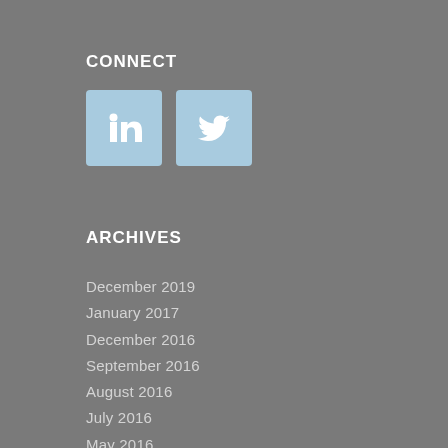CONNECT
[Figure (illustration): LinkedIn and Twitter social media icon buttons with light blue backgrounds]
ARCHIVES
December 2019
January 2017
December 2016
September 2016
August 2016
July 2016
May 2016
April 2016
March 2016